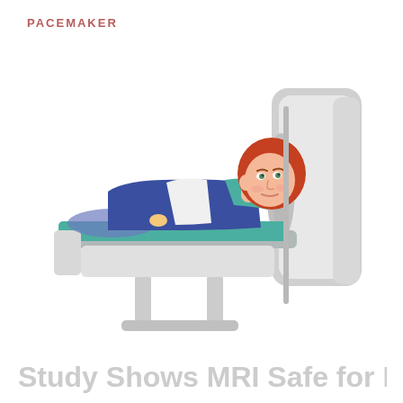PACEMAKER
[Figure (illustration): Illustration of a patient with red hair lying on an MRI scanner table, being inserted into the MRI machine. The patient is wearing a teal/navy hospital gown. The MRI machine is depicted in light gray tones. The table has a teal mat. The illustration is in a flat cartoon style.]
Study Shows MRI Safe for Pacemaker